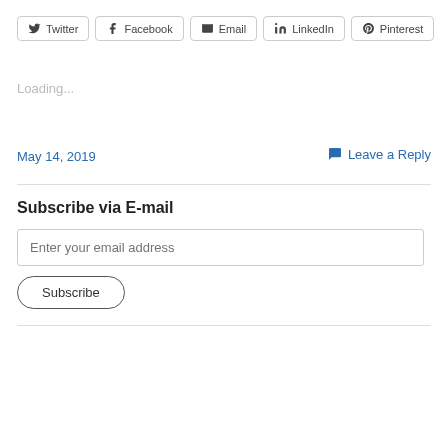[Figure (other): Social share buttons row: Twitter, Facebook, Email, LinkedIn, Pinterest]
Loading...
May 14, 2019
Leave a Reply
Subscribe via E-mail
Enter your email address
Subscribe